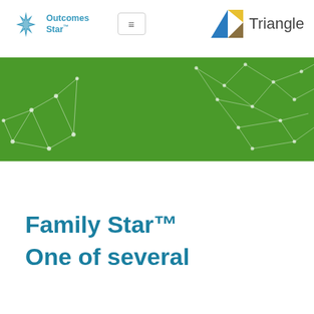[Figure (logo): Outcomes Star logo with star burst icon and text 'Outcomes Star']
[Figure (logo): Triangle logo with triangle icon and text 'Triangle']
[Figure (illustration): Green banner with white network/constellation line pattern dots connecting across the background]
Family Star™
One of several